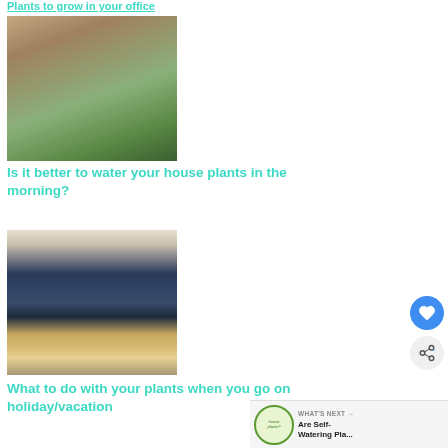Plants to grow in your office
[Figure (photo): Person watering house plants, hands visible holding a watering can over green leafy plants]
Is it better to water your house plants in the morning?
[Figure (photo): Open suitcase packed with travel items including a hat, camera, clothing, viewed from above]
What to do with your plants when you go on holiday/vacation
[Figure (illustration): WHAT'S NEXT arrow - Are Self-Watering Pla... navigation widget]